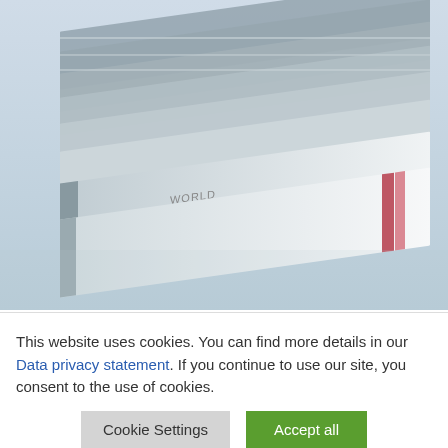[Figure (photo): Stack of newspapers viewed from the side at an angle, showing folded pages. One visible headline reads 'WORLD BUSINESS' and section marker 'B3'. The papers appear in shades of grey/white with a blue-tinted background.]
This website uses cookies. You can find more details in our Data privacy statement. If you continue to use our site, you consent to the use of cookies.